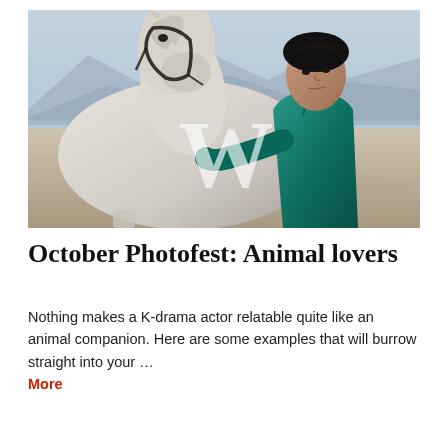[Figure (photo): A young Asian man in a teal suit leans against a white horse with a black bridle, in a misty desert landscape with mountains in the background. A large white 'W' logo watermark is overlaid on the center of the image.]
October Photofest: Animal lovers
Nothing makes a K-drama actor relatable quite like an animal companion. Here are some examples that will burrow straight into your … More